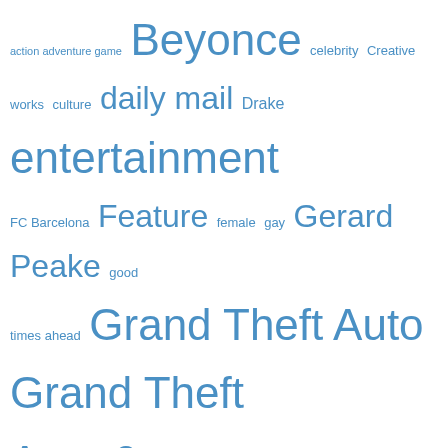[Figure (infographic): Tag cloud with hyperlinked terms in varying font sizes, all in blue: action adventure game, Beyonce, celebrity, Creative works, culture, daily mail, Drake, entertainment, FC Barcelona, Feature, female, gay, Gerard Peake, good times ahead, Grand Theft Auto, Grand Theft Auto 6, GTA 5, GTA Online, High quality, information, interview, jackpot, king richard, Lizzo, lottery, lottery winner, Marketing, million, millionaire, Millions lottery, money, most popular, Music, regeneration, Rihanna]
We use cookies on our website to give you the most relevant experience by remembering your preferences and repeat visits. By clicking "Accept All", you consent to the use of ALL the cookies. However, you may visit "Cookie Settings" to provide a controlled consent.